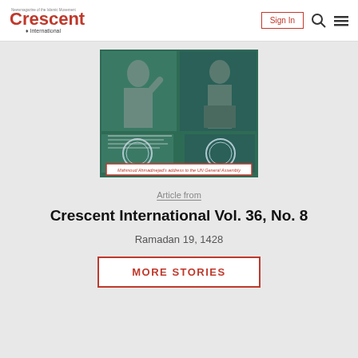Crescent International — Sign In
[Figure (photo): Magazine cover of Crescent International Vol. 36 No. 8 showing two men speaking at podiums with UN logos, with text overlays and a red highlighted box reading 'Mahmoud Ahmadinejad's address to the UN General Assembly']
Article from
Crescent International Vol. 36, No. 8
Ramadan 19, 1428
MORE STORIES